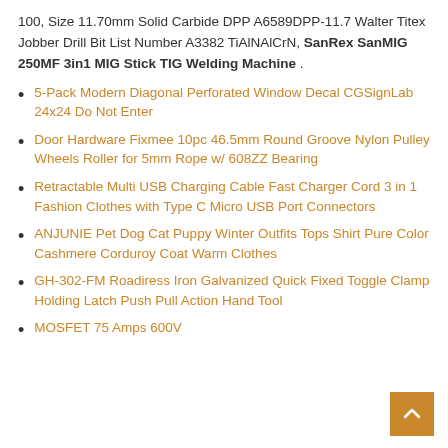100, Size 11.70mm Solid Carbide DPP A6589DPP-11.7 Walter Titex Jobber Drill Bit List Number A3382 TiAlNAlCrN, SanRex SanMIG 250MF 3in1 MIG Stick TIG Welding Machine .
5-Pack Modern Diagonal Perforated Window Decal CGSignLab 24x24 Do Not Enter
Door Hardware Fixmee 10pc 46.5mm Round Groove Nylon Pulley Wheels Roller for 5mm Rope w/ 608ZZ Bearing
Retractable Multi USB Charging Cable Fast Charger Cord 3 in 1 Fashion Clothes with Type C Micro USB Port Connectors
ANJUNIE Pet Dog Cat Puppy Winter Outfits Tops Shirt Pure Color Cashmere Corduroy Coat Warm Clothes
GH-302-FM Roadiress Iron Galvanized Quick Fixed Toggle Clamp Holding Latch Push Pull Action Hand Tool
MOSFET 75 Amps 600V